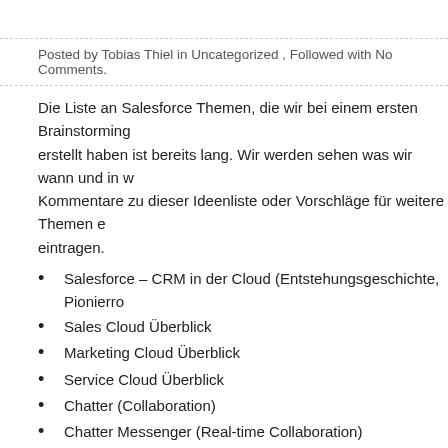Posted by Tobias Thiel in Uncategorized , Followed with No Comments.
Die Liste an Salesforce Themen, die wir bei einem ersten Brainstorming erstellt haben ist bereits lang. Wir werden sehen was wir wann und in w... Kommentare zu dieser Ideenliste oder Vorschläge für weitere Themen e... eintragen.
Salesforce – CRM in der Cloud (Entstehungsgeschichte, Pionierro...
Sales Cloud Überblick
Marketing Cloud Überblick
Service Cloud Überblick
Chatter (Collaboration)
Chatter Messenger (Real-time Collaboration)
Force.com (Platform for Cloud Apps)
Data.com (Business Data Services)
Database.com (Cloud Database)
Heroku.com (Cloud Application Platform)
Do.com (Social Productivity, Task-Management)
Site.com (Cloud CMS)
Desk.com (Social Customer Support Help Desk)
RemedyForce.com (IT Help Desk, ITIL)